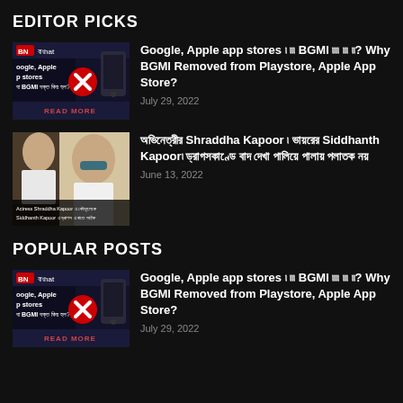EDITOR PICKS
[Figure (screenshot): Thumbnail image for BGMI article showing app store removal - dark background with red X icon, phone graphic and Bengali text]
Google, Apple app stores   BGMI   ? Why BGMI Removed from Playstore, Apple App Store?
July 29, 2022
[Figure (photo): Thumbnail image showing Actress Shraddha Kapoor and Siddhanth Kapoor photo with text overlay in Bengali]
ঘঘঘঘঘঘঘঘঘ Shraddha Kapoor ঘ ঘঘঘঘঘঘঘঘ Siddhanth Kapoorঘ ঘঘঘঘঘঘঘঘঘ ঘঘঘ ঘঘঘঘঘঘঘ ঘঘঘঘঘঘঘ ঘঘঘঘঘ ঘঘঘঘঘ ঘঘঘঘ
June 13, 2022
POPULAR POSTS
[Figure (screenshot): Thumbnail image for BGMI article showing app store removal - dark background with red X icon, phone graphic and Bengali text]
Google, Apple app stores   BGMI   ? Why BGMI Removed from Playstore, Apple App Store?
July 29, 2022